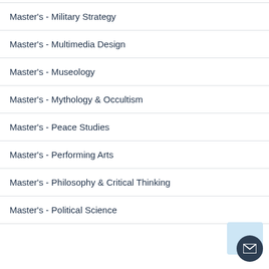Master's - Military Strategy
Master's - Multimedia Design
Master's - Museology
Master's - Mythology & Occultism
Master's - Peace Studies
Master's - Performing Arts
Master's - Philosophy & Critical Thinking
Master's - Political Science